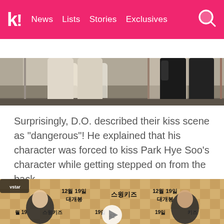koreaboo | News | Lists | Stories | Exclusives
BTS  TWICE  BLACKPINK  aespa  NCT  IVE  SHINee
[Figure (photo): Cropped photo showing the lower legs and feet of people standing, one in white boots and one in black dress shoes]
Surprisingly, D.O. described their kiss scene as "dangerous"! He explained that his character was forced to kiss Park Hye Soo's character while getting stepped on from the back.
[Figure (photo): Press event with Korean movie Swing Kids backdrop showing '12월 19일 대개봉' and '스윙키즈' text. Two people visible – a woman on the left and a man on the right. A video play button is overlaid in the center.]